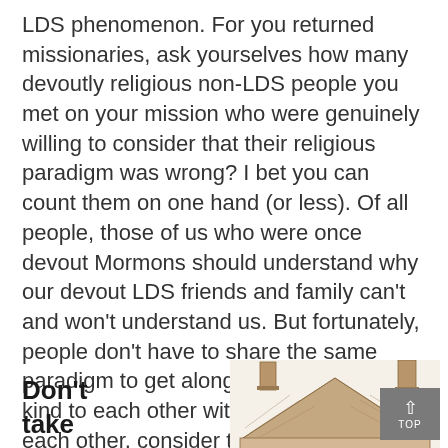LDS phenomenon.  For you returned missionaries, ask yourselves how many devoutly religious non-LDS people you met on your mission who were genuinely willing to consider that their religious paradigm was wrong?  I bet you can count them on one hand (or less).  Of all people, those of us who were once devout Mormons should understand why our devout LDS friends and family can't and won't understand us.  But fortunately, people don't have to share the same paradigm to get along.  So if you can be kind to each other without understanding each other, consider that a victory.
Don't
take
[Figure (illustration): Sepia-toned sketch/illustration of a house with chimneys and a peaked roof, partially visible at the bottom right of the page.]